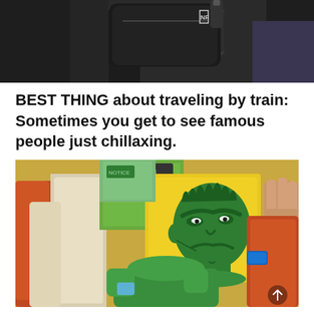[Figure (photo): Photo of a black North Face backpack/bag on a train seat, partially cropped at top]
BEST THING about traveling by train: Sometimes you get to see famous people just chillaxing.
[Figure (photo): Photo taken on a train showing a person holding up a yellow card/book with a cartoon drawing of the Hulk on it, while a green-costumed person (dressed as the Hulk) sits in a train seat looking at a phone. Train seats visible in background with WiFi sign.]